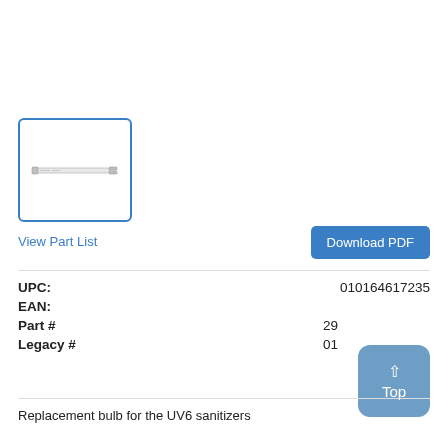[Figure (photo): Thumbnail image of a UV replacement bulb (long thin white tube) shown in a blue-bordered box]
View Part List
Download PDF
| UPC: | 010164617235 |
| EAN: |  |
| Part # | 29 |
| Legacy # | 01 |
Replacement bulb for the UV6 sanitizers